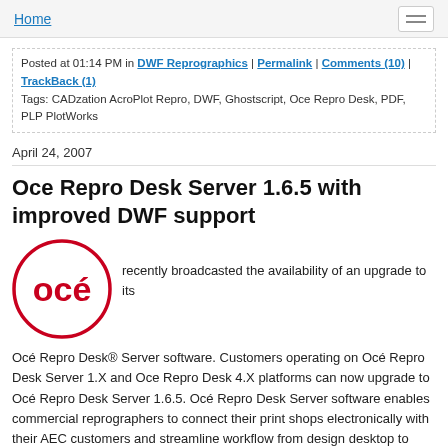Home
Posted at 01:14 PM in DWF Reprographics | Permalink | Comments (10) | TrackBack (1)
Tags: CADzation AcroPlot Repro, DWF, Ghostscript, Oce Repro Desk, PDF, PLP PlotWorks
April 24, 2007
Oce Repro Desk Server 1.6.5 with improved DWF support
[Figure (logo): Océ logo — red circle with 'océ' text in red]
recently broadcasted the availability of an upgrade to its Océ Repro Desk® Server software. Customers operating on Océ Repro Desk Server 1.X and Oce Repro Desk 4.X platforms can now upgrade to Océ Repro Desk Server 1.6.5. Océ Repro Desk Server software enables commercial reprographers to connect their print shops electronically with their AEC customers and streamline workflow from design desktop to digital print room.